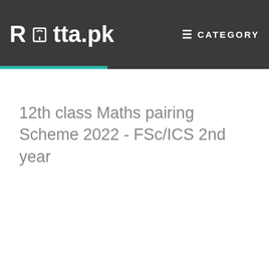Ratta.pk  ☰ CATEGORY
12th class Maths pairing Scheme 2022 - FSc/ICS 2nd year